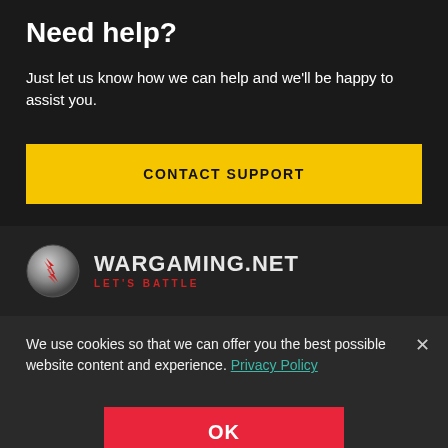Need help?
Just let us know how we can help and we’ll be happy to assist you.
CONTACT SUPPORT
[Figure (logo): Wargaming.net logo with shield/circle icon, text WARGAMING.NET and LET'S BATTLE subtitle]
We use cookies so that we can offer you the best possible website content and experience. Privacy Policy
OK